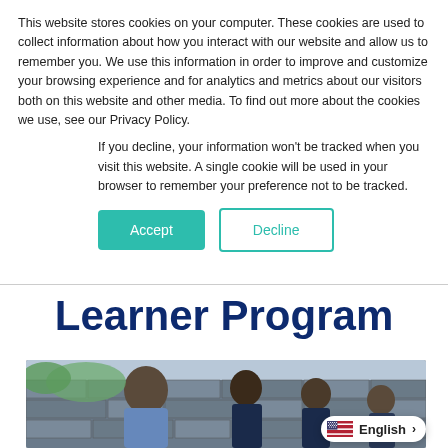This website stores cookies on your computer. These cookies are used to collect information about how you interact with our website and allow us to remember you. We use this information in order to improve and customize your browsing experience and for analytics and metrics about our visitors both on this website and other media. To find out more about the cookies we use, see our Privacy Policy.
If you decline, your information won't be tracked when you visit this website. A single cookie will be used in your browser to remember your preference not to be tracked.
Accept | Decline
Learner Program
[Figure (photo): A woman with dark hair, wearing a denim jacket, smiling and talking with children outdoors near a stone wall. The children are wearing dark blue uniforms.]
English >